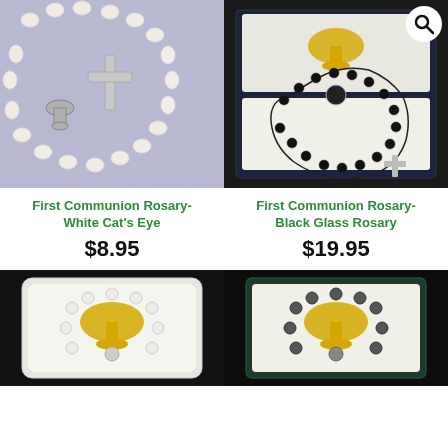[Figure (photo): First Communion rosary with white cat's eye beads and silver crucifix on blue background]
First Communion Rosary- White Cat's Eye
$8.95
[Figure (photo): First Communion rosary with black glass beads in a dark presentation case, with search icon overlay]
First Communion Rosary- Black Glass Rosary
$19.95
[Figure (photo): First Communion rosary set in white box with gold chalice emblem]
[Figure (photo): First Communion rosary set in dark green box with gold chalice emblem and dark beads]